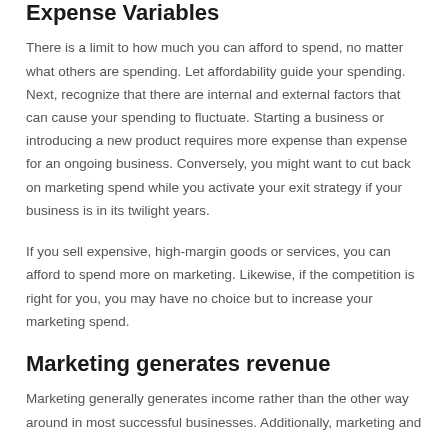Expense Variables
There is a limit to how much you can afford to spend, no matter what others are spending. Let affordability guide your spending. Next, recognize that there are internal and external factors that can cause your spending to fluctuate. Starting a business or introducing a new product requires more expense than expense for an ongoing business. Conversely, you might want to cut back on marketing spend while you activate your exit strategy if your business is in its twilight years.
If you sell expensive, high-margin goods or services, you can afford to spend more on marketing. Likewise, if the competition is right for you, you may have no choice but to increase your marketing spend.
Marketing generates revenue
Marketing generally generates income rather than the other way around in most successful businesses. Additionally, marketing and